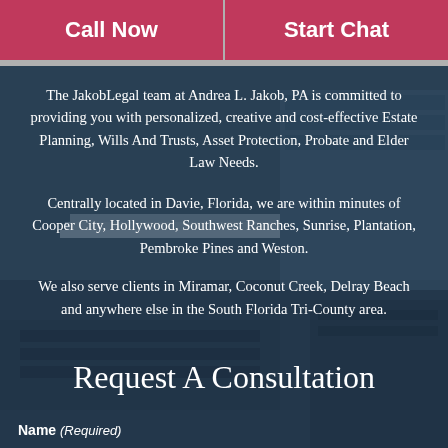Call Now
Start Chat
The JakobLegal team at Andrea L. Jakob, PA is committed to providing you with personalized, creative and cost-effective Estate Planning, Wills And Trusts, Asset Protection, Probate and Elder Law Needs.
Centrally located in Davie, Florida, we are within minutes of Cooper City, Hollywood, Southwest Ranches, Sunrise, Plantation, Pembroke Pines and Weston.
We also serve clients in Miramar, Coconut Creek, Delray Beach and anywhere else in the South Florida Tri-County area.
Request A Consultation
Name (Required)